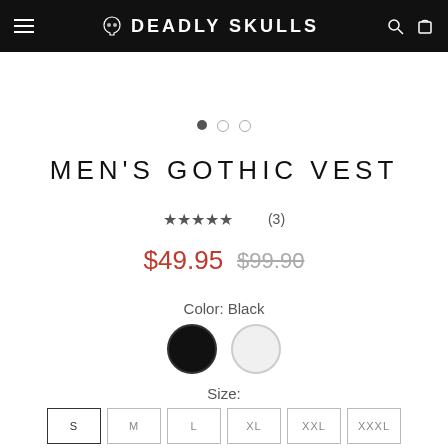DEADLY SKULLS
[Figure (other): Carousel dot indicators: one filled dark dot and two empty/outlined dots]
MEN'S GOTHIC VEST
★★★★★ (3)
$49.95  $99.90
Color: Black
[Figure (other): Two color swatches: black (selected, with border) and white/light gray]
Size:
S  M  L  XL  XXL  XXXL